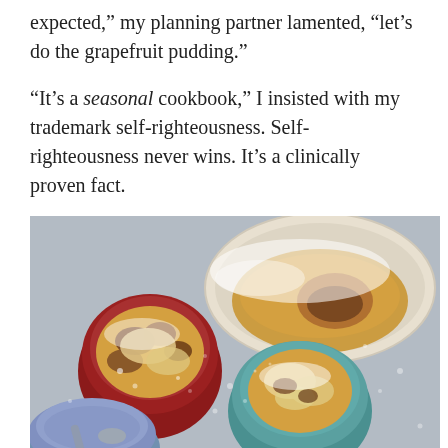expected,” my planning partner lamented, “let’s do the grapefruit pudding.”
“It’s a seasonal cookbook,” I insisted with my trademark self-righteousness. Self-righteousness never wins. It’s a clinically proven fact.
[Figure (photo): Overhead view of grapefruit pudding served in ceramic ramekins and a large white baking dish, dusted with powdered sugar, on a light grey surface. A red ramekin on the left contains pudding with caramelized fruit pieces. A teal/mint ramekin in the center-right holds similar pudding. A large white oval dish at the top contains a baked pudding soufflé-style. A blue ramekin with a spoon sits at the lower left.]